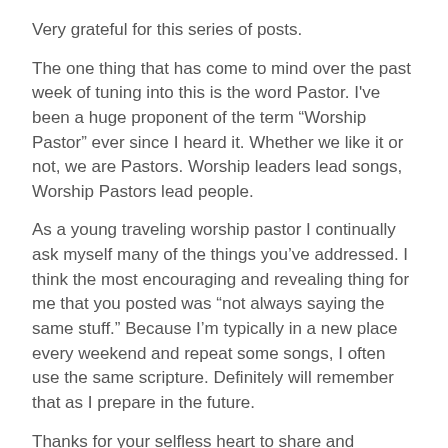Very grateful for this series of posts.
The one thing that has come to mind over the past week of tuning into this is the word Pastor. I've been a huge proponent of the term “Worship Pastor” ever since I heard it. Whether we like it or not, we are Pastors. Worship leaders lead songs, Worship Pastors lead people.
As a young traveling worship pastor I continually ask myself many of the things you’ve addressed. I think the most encouraging and revealing thing for me that you posted was “not always saying the same stuff.” Because I’m typically in a new place every weekend and repeat some songs, I often use the same scripture. Definitely will remember that as I prepare in the future.
Thanks for your selfless heart to share and encourage those around you. Hope to meet you face to face one day and learn more from your experienced heart.
Gardner